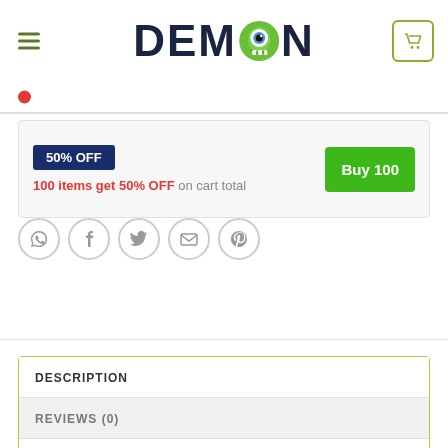DEMON
50% OFF
100 items get 50% OFF on cart total
Buy 100
[Figure (other): Social sharing icons: WhatsApp, Facebook, Twitter, Email, Pinterest]
DESCRIPTION
REVIEWS (0)
So Long 2nd Grade Hello Summer SVG, Last Day Of School